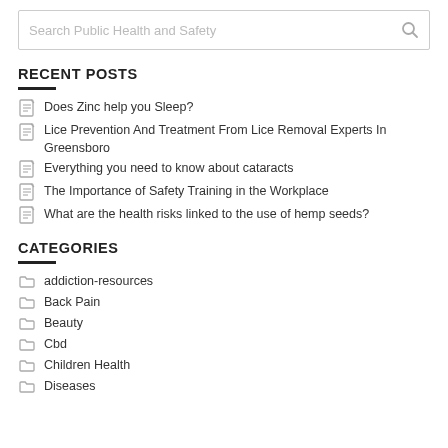[Figure (other): Search bar with placeholder text 'Search Public Health and Safety' and a magnifying glass icon]
RECENT POSTS
Does Zinc help you Sleep?
Lice Prevention And Treatment From Lice Removal Experts In Greensboro
Everything you need to know about cataracts
The Importance of Safety Training in the Workplace
What are the health risks linked to the use of hemp seeds?
CATEGORIES
addiction-resources
Back Pain
Beauty
Cbd
Children Health
Diseases